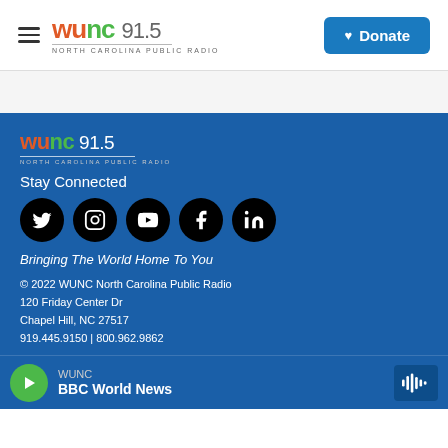WUNC 91.5 North Carolina Public Radio | Donate
[Figure (logo): WUNC 91.5 North Carolina Public Radio logo with colorful lettering in orange and green, with Donate button]
[Figure (logo): WUNC 91.5 North Carolina Public Radio footer logo in white/orange/green]
Stay Connected
[Figure (infographic): Social media icons: Twitter, Instagram, YouTube, Facebook, LinkedIn]
Bringing The World Home To You
© 2022 WUNC North Carolina Public Radio
120 Friday Center Dr
Chapel Hill, NC 27517
919.445.9150 | 800.962.9862
WUNC BBC World News